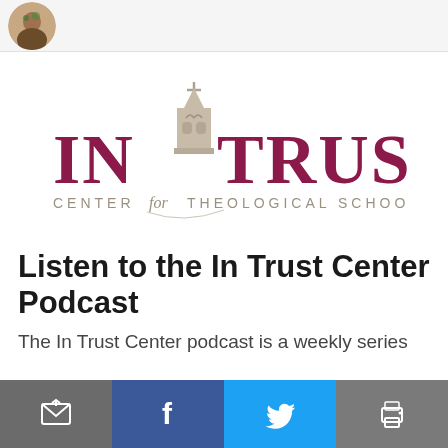[Figure (photo): Circular avatar photo of a person at the top left corner of the page]
[Figure (logo): In Trust Center for Theological Schools logo with church steeple graphic in taupe/gray, text IN TRUST in dark crimson red, and subtitle CENTER for THEOLOGICAL SCHOOLS in gray]
Listen to the In Trust Center Podcast
The In Trust Center podcast is a weekly series
[Figure (infographic): Bottom navigation bar with four buttons: email/subscribe (dark gray), Facebook (blue), Twitter (light blue), and print (gray)]